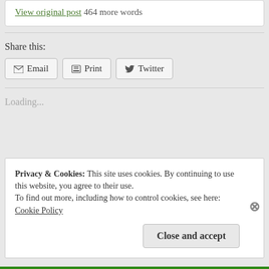View original post 464 more words
Share this:
Email  Print  Twitter
Loading...
Privacy & Cookies: This site uses cookies. By continuing to use this website, you agree to their use.
To find out more, including how to control cookies, see here:
Cookie Policy
Close and accept